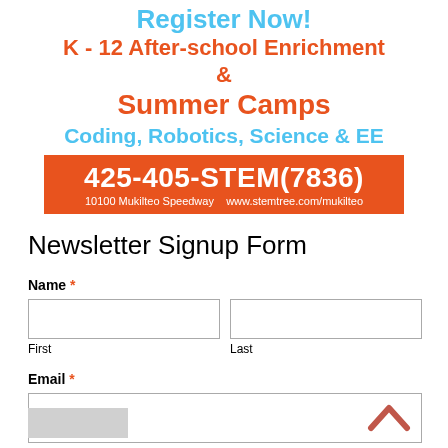[Figure (infographic): STEMTREE advertisement banner with text: Register Now! K - 12 After-school Enrichment & Summer Camps, Coding, Robotics, Science & EE, phone 425-405-STEM(7836), address 10100 Mukilteo Speedway, www.stemtree.com/mukilteo]
Newsletter Signup Form
Name *
First
Last
Email *